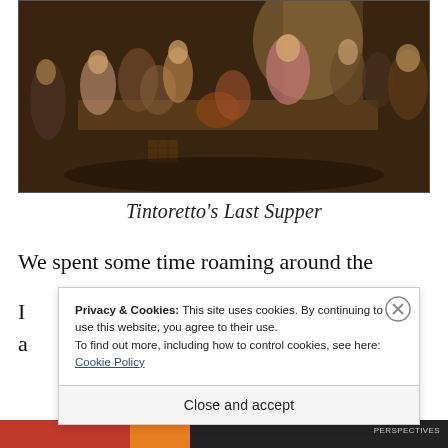[Figure (photo): Tintoretto's Last Supper painting — a dark Baroque scene depicting Jesus and disciples at a long table, with figures in dynamic poses around them, set in a dimly lit interior with warm earthy tones.]
Tintoretto's Last Supper
We spent some time roaming around the
Privacy & Cookies: This site uses cookies. By continuing to use this website, you agree to their use.
To find out more, including how to control cookies, see here:
Cookie Policy
Close and accept